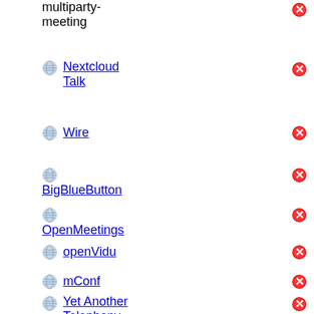multiparty-meeting
Nextcloud Talk
Wire
BigBlueButton
OpenMeetings
openVidu
mConf
Yet Another Telephony